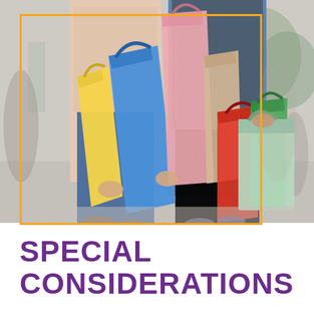[Figure (photo): Two people carrying multiple colorful shopping bags (yellow, blue, pink, beige, red, green, light green) from a shopping trip. The image is framed with an orange rectangular border overlay. The background is blurred outdoor retail environment.]
SPECIAL CONSIDERATIONS